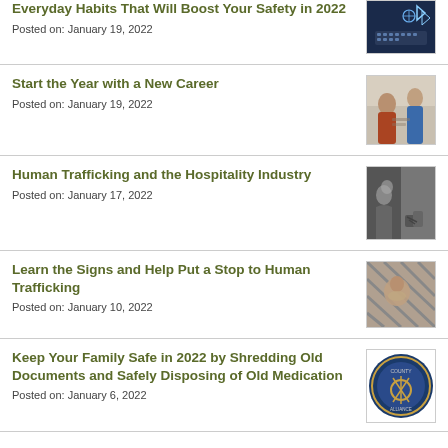Everyday Habits That Will Boost Your Safety in 2022
Posted on: January 19, 2022
[Figure (photo): Hands typing on a keyboard with digital overlay graphics]
Start the Year with a New Career
Posted on: January 19, 2022
[Figure (photo): Two people in an office/workplace setting, one in a blue shirt]
Human Trafficking and the Hospitality Industry
Posted on: January 17, 2022
[Figure (photo): Black and white images of a woman looking down and hands bound]
Learn the Signs and Help Put a Stop to Human Trafficking
Posted on: January 10, 2022
[Figure (photo): Person looking through a fence/grid]
Keep Your Family Safe in 2022 by Shredding Old Documents and Safely Disposing of Old Medication
Posted on: January 6, 2022
[Figure (logo): Circular seal/badge logo in blue and gold]